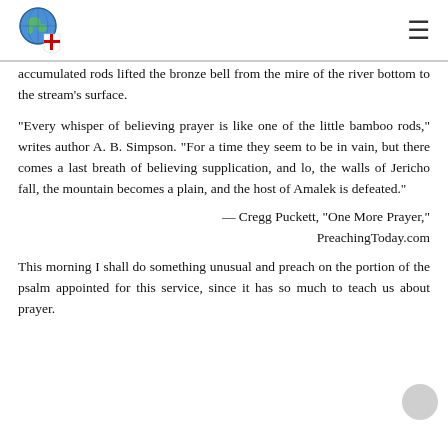[Logo: globe with cross shield] [Hamburger menu icon]
accumulated rods lifted the bronze bell from the mire of the river bottom to the stream’s surface.
“Every whisper of believing prayer is like one of the little bamboo rods,” writes author A. B. Simpson. “For a time they seem to be in vain, but there comes a last breath of believing supplication, and lo, the walls of Jericho fall, the mountain becomes a plain, and the host of Amalek is defeated.”
— Cregg Puckett, “One More Prayer,” PreachingToday.com
This morning I shall do something unusual and preach on the portion of the psalm appointed for this service, since it has so much to teach us about prayer.